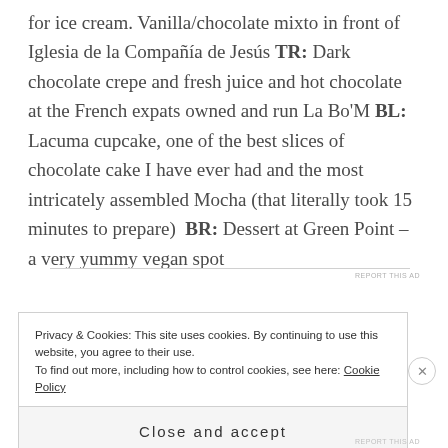for ice cream. Vanilla/chocolate mixto in front of Iglesia de la Compañía de Jesús TR: Dark chocolate crepe and fresh juice and hot chocolate at the French expats owned and run La Bo'M BL: Lacuma cupcake, one of the best slices of chocolate cake I have ever had and the most intricately assembled Mocha (that literally took 15 minutes to prepare)  BR: Dessert at Green Point – a very yummy vegan spot
REPORT THIS AD
Privacy & Cookies: This site uses cookies. By continuing to use this website, you agree to their use.
To find out more, including how to control cookies, see here: Cookie Policy
Close and accept
REPORT THIS AD